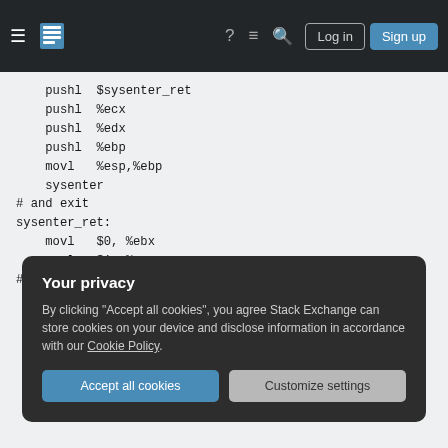[Figure (screenshot): Stack Overflow navigation bar with hamburger menu, Stack Overflow logo, question mark icon, comment icon, search icon, Log in button, and Sign up button on dark background]
pushl  $sysenter_ret
    pushl  %ecx
    pushl  %edx
    pushl  %ebp
    movl   %esp,%ebp
    sysenter
# and exit
sysenter_ret:
    movl   $0, %ebx
    movl   $1, %eax
# Setting the stack for the systenter
    pushl  $sysenter_ret # Who cares, this
    pushl  %ecx
    pushl  %edx
    pushl  %ebp
Your privacy
By clicking "Accept all cookies", you agree Stack Exchange can store cookies on your device and disclose information in accordance with our Cookie Policy.
Accept all cookies  Customize settings